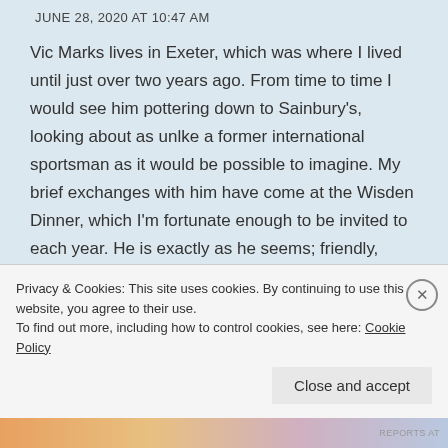JUNE 28, 2020 AT 10:47 AM
Vic Marks lives in Exeter, which was where I lived until just over two years ago. From time to time I would see him pottering down to Sainbury's, looking about as unlke a former international sportsman as it would be possible to imagine. My brief exchanges with him have come at the Wisden Dinner, which I'm fortunate enough to be invited to each year. He is exactly as he seems; friendly, genial and humorous. I tend to subscribe to the prevailing view among fellow conf...
Privacy & Cookies: This site uses cookies. By continuing to use this website, you agree to their use.
To find out more, including how to control cookies, see here: Cookie Policy
Close and accept